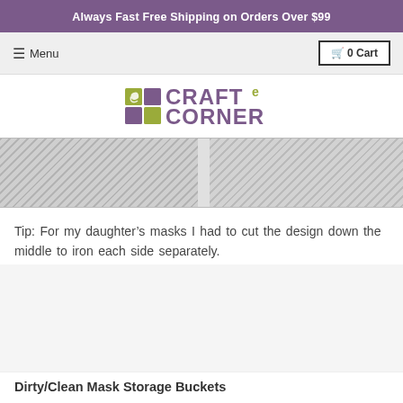Always Fast Free Shipping on Orders Over $99
≡ Menu   🛒 0 Cart
[Figure (logo): Craft e Corner logo with colored squares and stylized text]
[Figure (photo): Close-up photo of fabric or mask material with textured surface, split into two panels]
Tip: For my daughter's masks I had to cut the design down the middle to iron each side separately.
Dirty/Clean Mask Storage Buckets